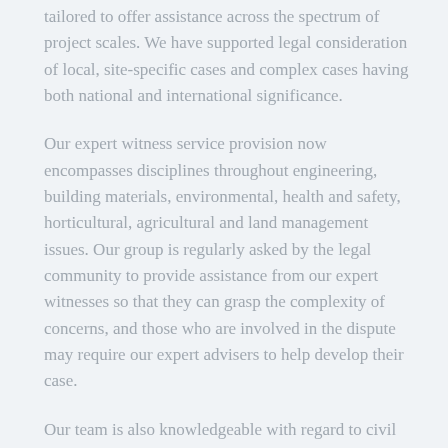tailored to offer assistance across the spectrum of project scales. We have supported legal consideration of local, site-specific cases and complex cases having both national and international significance.
Our expert witness service provision now encompasses disciplines throughout engineering, building materials, environmental, health and safety, horticultural, agricultural and land management issues. Our group is regularly asked by the legal community to provide assistance from our expert witnesses so that they can grasp the complexity of concerns, and those who are involved in the dispute may require our expert advisers to help develop their case.
Our team is also knowledgeable with regard to civil disputes that arise, including design, site investigation, materials and structural issues, and sometimes a